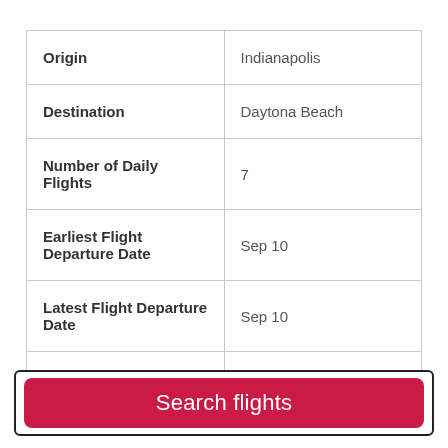| Field | Value |
| --- | --- |
| Origin | Indianapolis |
| Destination | Daytona Beach |
| Number of Daily Flights | 7 |
| Earliest Flight Departure Date | Sep 10 |
| Latest Flight Departure Date | Sep 10 |
| Popular Airlines |  |
Search flights